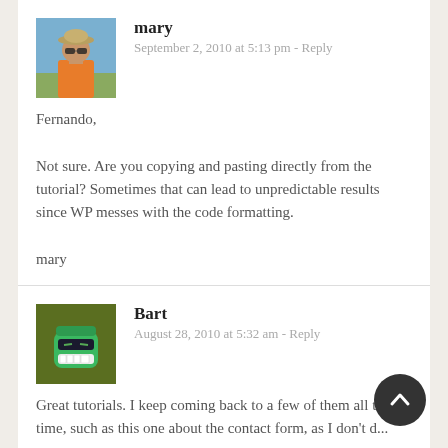[Figure (photo): Avatar photo of mary — person outdoors wearing a bucket hat, orange shirt]
mary
September 2, 2010 at 5:13 pm - Reply
Fernando,

Not sure. Are you copying and pasting directly from the tutorial? Sometimes that can lead to unpredictable results since WP messes with the code formatting.

mary
[Figure (illustration): Avatar illustration of Bart — cartoon green robot/alien face with sunglasses and teeth, on dark olive background]
Bart
August 28, 2010 at 5:32 am - Reply
Great tutorials. I keep coming back to a few of them all the time, such as this one about the contact form, as I don't d...